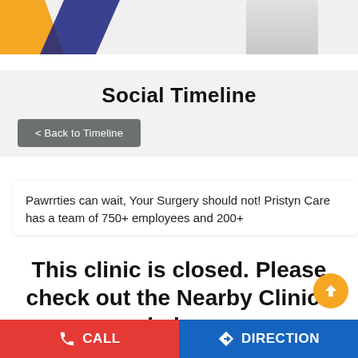[Figure (illustration): Top banner with orange and dark blue geometric shapes on the left, and a doctor figure in white coat on the right against a light gray background.]
Social Timeline
< Back to Timeline
Pawrrties can wait, Your Surgery should not! Pristyn Care has a team of 750+ employees and 200+
This clinic is closed. Please check out the Nearby Clinics below
#wellness #Wednesday #chilling #ane #party #pawrihoraihai #pawrihorihai #surgery #doctor #hospital #care #treatment #yashrajmukhate #dananeer #healthcare #medicine #medical #nurse #Covid #love #wellness #fitness #Ido...Patienthealthcarealincionil...
CALL
DIRECTION